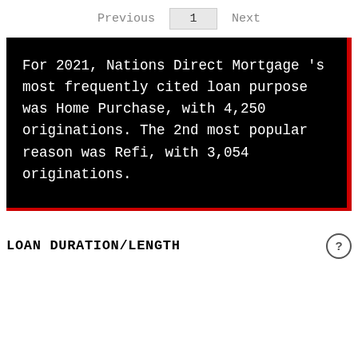Previous  1  Next
For 2021, Nations Direct Mortgage 's most frequently cited loan purpose was Home Purchase, with 4,250 originations. The 2nd most popular reason was Refi, with 3,054 originations.
LOAN DURATION/LENGTH